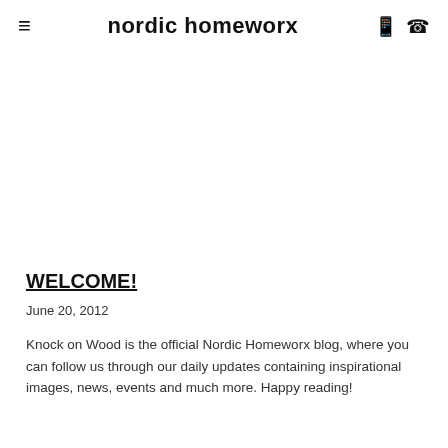≡  nordic homeworx  ◎ ✆
WELCOME!
June 20, 2012
Knock on Wood is the official Nordic Homeworx blog, where you can follow us through our daily updates containing inspirational images, news, events and much more. Happy reading!